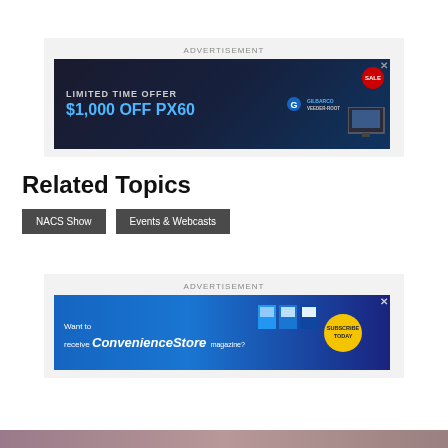[Figure (other): Advertisement banner for Gilbarco Veeder-Root PX60: 'LIMITED TIME OFFER $1,000 OFF PX60' with SALE badge and monitor image]
Related Topics
NACS Show
Events & Webcasts
[Figure (other): Advertisement banner for Convenience Store News magazine: 'Want to receive Convenience Store magazine? SUBSCRIBE TODAY']